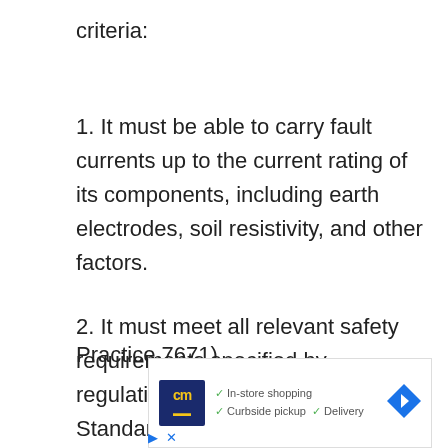criteria:
1. It must be able to carry fault currents up to the current rating of its components, including earth electrodes, soil resistivity, and other factors.
2. It must meet all relevant safety requirements specified by regulations such as BS 7671 (British Standard Code of Practice 7671).
[Figure (other): Advertisement overlay showing a store logo (cm) with checkmarks for In-store shopping, Curbside pickup, and Delivery, plus a navigation arrow icon.]